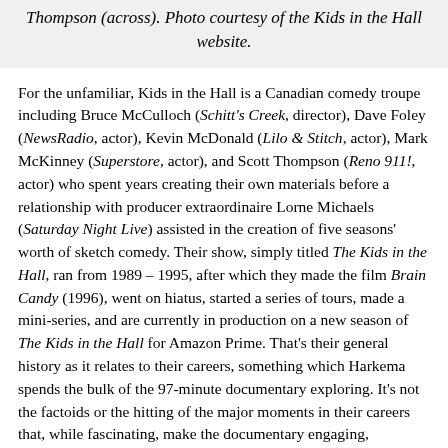Thompson (across). Photo courtesy of the Kids in the Hall website.
For the unfamiliar, Kids in the Hall is a Canadian comedy troupe including Bruce McCulloch (Schitt's Creek, director), Dave Foley (NewsRadio, actor), Kevin McDonald (Lilo & Stitch, actor), Mark McKinney (Superstore, actor), and Scott Thompson (Reno 911!, actor) who spent years creating their own materials before a relationship with producer extraordinaire Lorne Michaels (Saturday Night Live) assisted in the creation of five seasons' worth of sketch comedy. Their show, simply titled The Kids in the Hall, ran from 1989 – 1995, after which they made the film Brain Candy (1996), went on hiatus, started a series of tours, made a mini-series, and are currently in production on a new season of The Kids in the Hall for Amazon Prime. That's their general history as it relates to their careers, something which Harkema spends the bulk of the 97-minute documentary exploring. It's not the factoids or the hitting of the major moments in their careers that, while fascinating, make the documentary engaging, hilarious, or remotely rewatchable, it's how it taps into the individual members of the troupe, giving them the time to offer